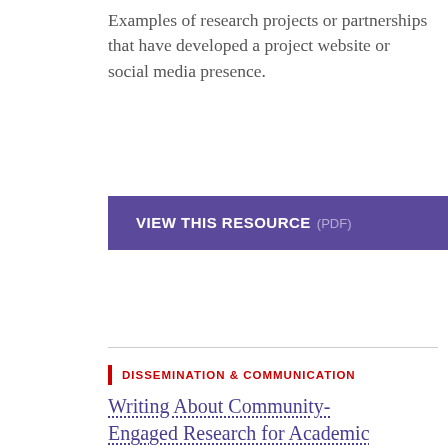Examples of research projects or partnerships that have developed a project website or social media presence.
VIEW THIS RESOURCE (PDF)
DISSEMINATION & COMMUNICATION
Writing About Community-Engaged Research for Academic Journals (PDF)
Key considerations in preparing a manuscript for publication, including general principles and those unique to